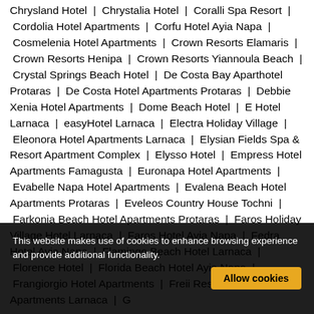Chrysland Hotel | Chrystalia Hotel | Coralli Spa Resort | Cordolia Hotel Apartments | Corfu Hotel Ayia Napa | Cosmelenia Hotel Apartments | Crown Resorts Elamaris | Crown Resorts Henipa | Crown Resorts Yiannoula Beach | Crystal Springs Beach Hotel | De Costa Bay Aparthotel Protaras | De Costa Hotel Apartments Protaras | Debbie Xenia Hotel Apartments | Dome Beach Hotel | E Hotel Larnaca | easyHotel Larnaca | Electra Holiday Village | Eleonora Hotel Apartments Larnaca | Elysian Fields Spa & Resort Apartment Complex | Elysso Hotel | Empress Hotel Apartments Famagusta | Euronapa Hotel Apartments | Evabelle Napa Hotel Apartments | Evalena Beach Hotel Apartments Protaras | Eveleos Country House Tochni | Farkonia Beach Hotel Apartments Protaras | Faros Holiday Village Hotel Larnaca | Faros Hotel Ayia Napa | Fedra Hotel Ayia Napa | Flamingo Beach Hotel Larnaca | Florence Hotel | Florida Beach Hotel Ayia Napa | Frangiorgio Hotel Apartments | Freii Resort | Frixos Hotel Apartments Larnaca | G...
This website makes use of cookies to enhance browsing experience and provide additional functionality.
Allow cookies